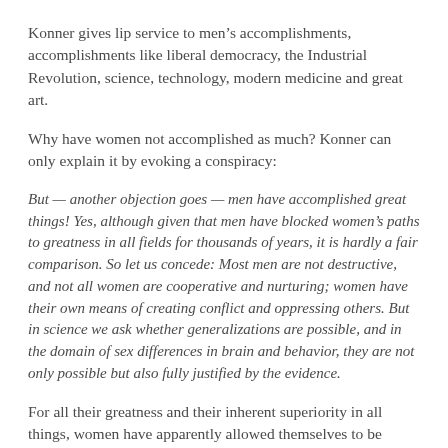Konner gives lip service to men's accomplishments, accomplishments like liberal democracy, the Industrial Revolution, science, technology, modern medicine and great art.
Why have women not accomplished as much? Konner can only explain it by evoking a conspiracy:
But — another objection goes — men have accomplished great things! Yes, although given that men have blocked women's paths to greatness in all fields for thousands of years, it is hardly a fair comparison. So let us concede: Most men are not destructive, and not all women are cooperative and nurturing; women have their own means of creating conflict and oppressing others. But in science we ask whether generalizations are possible, and in the domain of sex differences in brain and behavior, they are not only possible but also fully justified by the evidence.
For all their greatness and their inherent superiority in all things, women have apparently allowed themselves to be oppressed for thousands of years. Doesn't this count as something of a flaw?